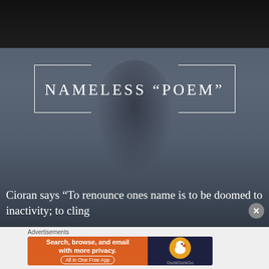[Figure (photo): Dark background photo of a person, blurred/silhouetted, with bluish-gray tones]
NAMELESS “POEM”
Cioran says “To renounce ones name is to be doomed to inactivity; to cling
Advertisements
Search, browse, and email with more privacy. All in One Free App
[Figure (logo): DuckDuckGo logo on dark blue background with duck icon]